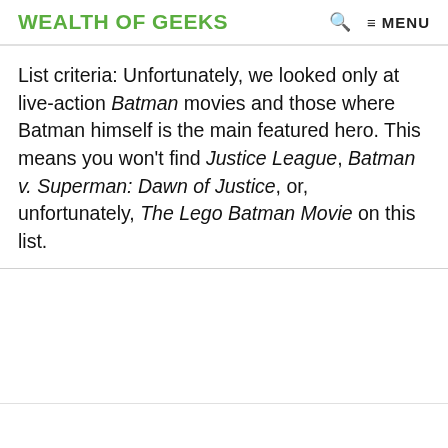WEALTH OF GEEKS  🔍  ≡ MENU
List criteria: Unfortunately, we looked only at live-action Batman movies and those where Batman himself is the main featured hero. This means you won't find Justice League, Batman v. Superman: Dawn of Justice, or, unfortunately, The Lego Batman Movie on this list.